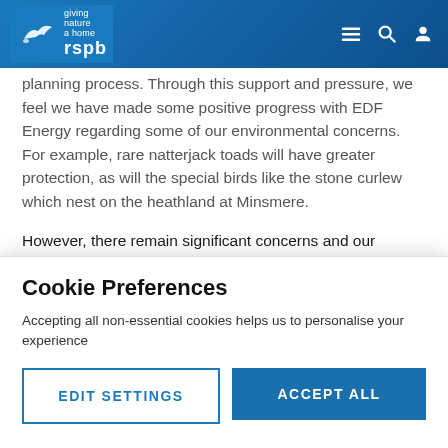RSPB — giving nature a home
planning process. Through this support and pressure, we feel we have made some positive progress with EDF Energy regarding some of our environmental concerns. For example, rare natterjack toads will have greater protection, as will the special birds like the stone curlew which nest on the heathland at Minsmere.
However, there remain significant concerns and our organisations believe that if the build goes ahead, there could be serious detrimental impacts on wildlife. EDF
Cookie Preferences
Accepting all non-essential cookies helps us to personalise your experience
EDIT SETTINGS
ACCEPT ALL